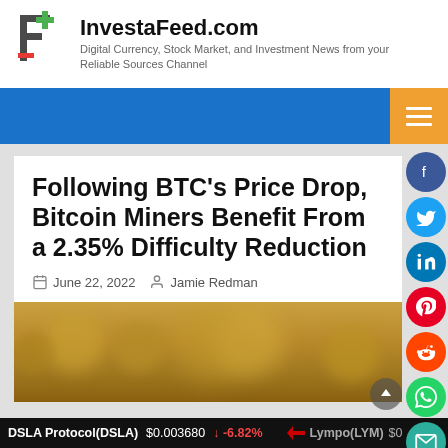[Figure (logo): InvestaFeed.com logo — stylized F with green and red elements]
InvestaFeed.com
Digital Currency, Stock Market, and Investment News from your Reliable Sources Channel
Following BTC’s Price Drop, Bitcoin Miners Benefit From a 2.35% Difficulty Reduction
June 22, 2022  Jamie Redman
[Figure (photo): Blurred close-up photo of Bitcoin coins on sandy/golden background]
DSLA Protocol(DSLA)  $0.003680  ↓ -6.82%     Lympo(LYM)  $0...